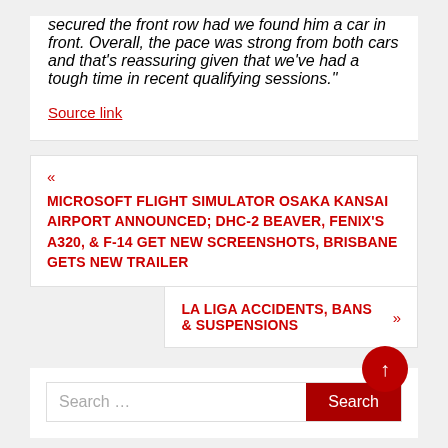secured the front row had we found him a car in front. Overall, the pace was strong from both cars and that’s reassuring given that we’ve had a tough time in recent qualifying sessions."
Source link
« MICROSOFT FLIGHT SIMULATOR OSAKA KANSAI AIRPORT ANNOUNCED; DHC-2 BEAVER, FENIX’S A320, & F-14 GET NEW SCREENSHOTS, BRISBANE GETS NEW TRAILER
LA LIGA ACCIDENTS, BANS & SUSPENSIONS »
Search …